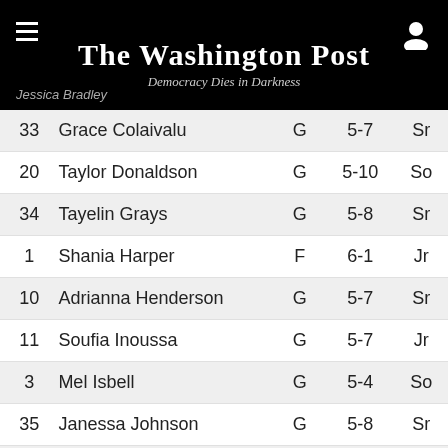The Washington Post — Democracy Dies in Darkness
| # | Name | Pos | Ht | Yr |
| --- | --- | --- | --- | --- |
| 33 | Grace Colaivalu | G | 5-7 | Sr |
| 20 | Taylor Donaldson | G | 5-10 | So |
| 34 | Tayelin Grays | G | 5-8 | Sr |
| 1 | Shania Harper | F | 6-1 | Jr |
| 10 | Adrianna Henderson | G | 5-7 | Sr |
| 11 | Soufia Inoussa | G | 5-7 | Jr |
| 3 | Mel Isbell | G | 5-4 | So |
| 35 | Janessa Johnson | G | 5-8 | Sr |
| 0 | Molly Kaiser | G | 5-8 | So |
| 23 | Sylena Peterson | G | 5-7 | Fr |
| 24 | Rique Sarr | F | 6-2 | Sr |